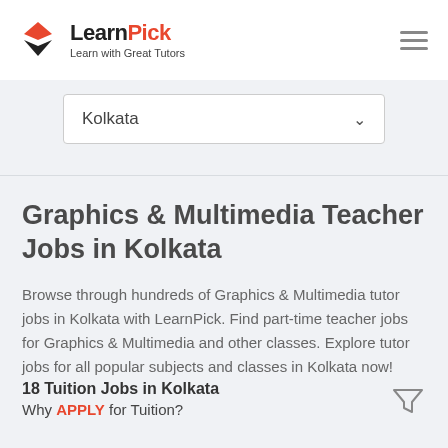LearnPick — Learn with Great Tutors
Kolkata
Graphics & Multimedia Teacher Jobs in Kolkata
Browse through hundreds of Graphics & Multimedia tutor jobs in Kolkata with LearnPick. Find part-time teacher jobs for Graphics & Multimedia and other classes. Explore tutor jobs for all popular subjects and classes in Kolkata now!
18 Tuition Jobs in Kolkata
Why APPLY for Tuition?